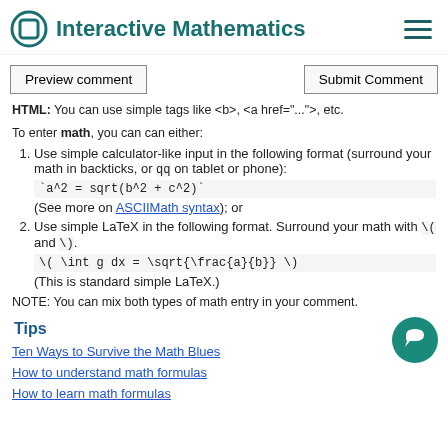Interactive Mathematics
Preview comment | Submit Comment
HTML: You can use simple tags like <b>, <a href="...">, etc.
To enter math, you can can either:
1. Use simple calculator-like input in the following format (surround your math in backticks, or qq on tablet or phone): `a^2 = sqrt(b^2 + c^2)` (See more on ASCIIMath syntax); or
2. Use simple LaTeX in the following format. Surround your math with \( and \). \( \int g dx = \sqrt{\frac{a}{b}} \) (This is standard simple LaTeX.)
NOTE: You can mix both types of math entry in your comment.
Tips
Ten Ways to Survive the Math Blues
How to understand math formulas
How to learn math formulas